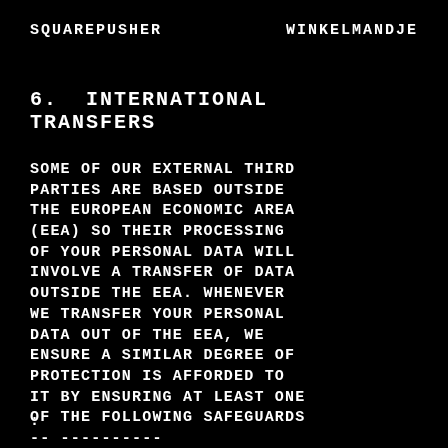SQUAREPUSHER    WINKELMANDJE
6.  INTERNATIONAL  TRANSFERS
SOME OF OUR EXTERNAL THIRD PARTIES ARE BASED OUTSIDE THE EUROPEAN ECONOMIC AREA (EEA) SO THEIR PROCESSING OF YOUR PERSONAL DATA WILL INVOLVE A TRANSFER OF DATA OUTSIDE THE EEA. WHENEVER WE TRANSFER YOUR PERSONAL DATA OUT OF THE EEA, WE ENSURE A SIMILAR DEGREE OF PROTECTION IS AFFORDED TO IT BY ENSURING AT LEAST ONE OF THE FOLLOWING SAFEGUARDS -- ----------
: